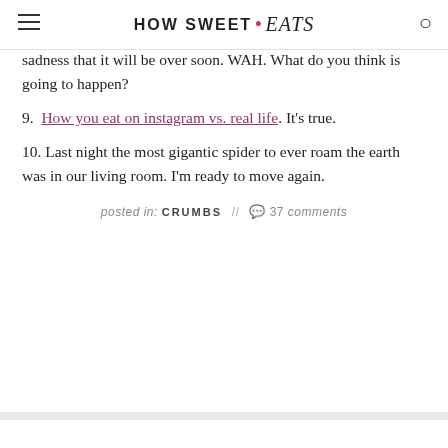HOW SWEET · eats
sadness that it will be over soon. WAH. What do you think is going to happen?
9. How you eat on instagram vs. real life. It's true.
10. Last night the most gigantic spider to ever roam the earth was in our living room. I'm ready to move again.
posted in: CRUMBS // 💬 37 comments